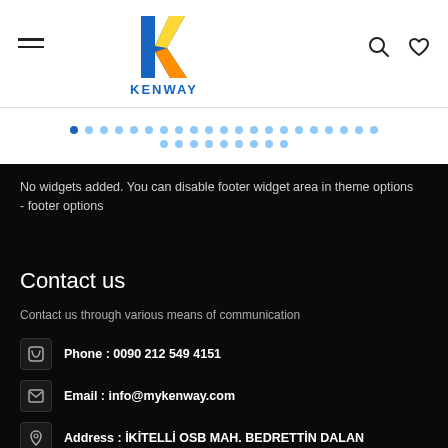KENWAY
[Figure (other): Navigation dots indicator row — two rows of small circular dots, the first dot highlighted in dark blue, the rest in light blue]
No widgets added. You can disable footer widget area in theme options - footer options
Contact us
Contact us through various means of communication
Phone : 0090 212 549 4151
Email : info@mykenway.com
Address : İKİTELLİ OSB MAH. BEDRETTİN DALAN